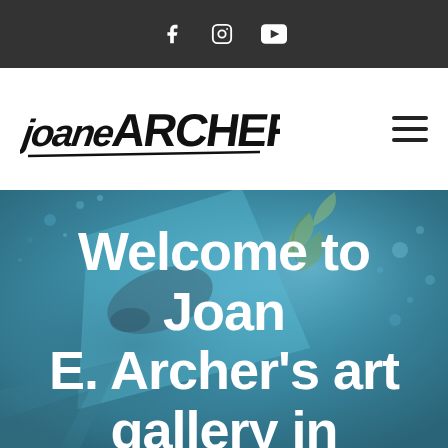Social media icons: Facebook, Instagram, YouTube
[Figure (logo): Joan E. Archer handwritten signature logo in black on white background]
[Figure (photo): Teal/blue watercolor art background with botanical elements and paint splatters]
Welcome to Joan E. Archer's art gallery in